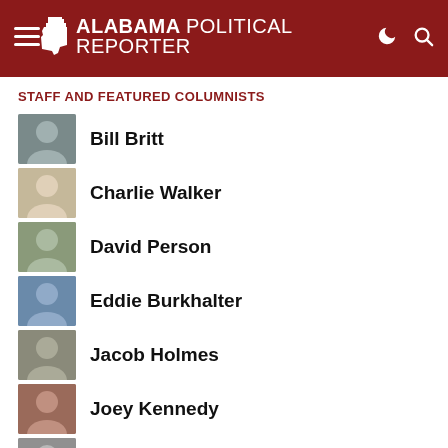Alabama Political Reporter
STAFF AND FEATURED COLUMNISTS
Bill Britt
Charlie Walker
David Person
Eddie Burkhalter
Jacob Holmes
Joey Kennedy
John H. Glenn
Josh Moon
Steve Flowers
Susan Britt